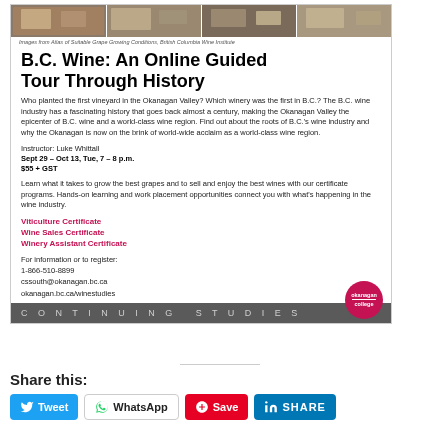[Figure (photo): Strip of vineyard/winery photos across the top of the ad card]
Images from Atlas of Suitable Grape Growing Conditions, British Columbia Wine Institute
B.C. Wine: An Online Guided Tour Through History
Who planted the first vineyard in the Okanagan Valley? Which winery was the first in B.C.? The B.C. wine industry has a fascinating history that goes back almost a century, making the Okanagan Valley the epicenter of B.C. wine and a world-class wine region. Find out about the roots of B.C.'s wine industry and why the Okanagan is now on the brink of world-wide acclaim as a world-class wine region.
Instructor: Luke Whittall
Sept 29 – Oct 13, Tue, 7 – 8 p.m.
$55 + GST
Learn what it takes to grow the best grapes and to sell and enjoy the best wines with our certificate programs. Hands-on learning and work placement opportunities connect you with what's happening in the wine industry.
Viticulture Certificate
Wine Sales Certificate
Winery Assistant Certificate
For information or to register:
1-866-510-8899
cssouth@okanagan.bc.ca
okanagan.bc.ca/winestudies
CONTINUING STUDIES
Share this:
Tweet
WhatsApp
Save
SHARE